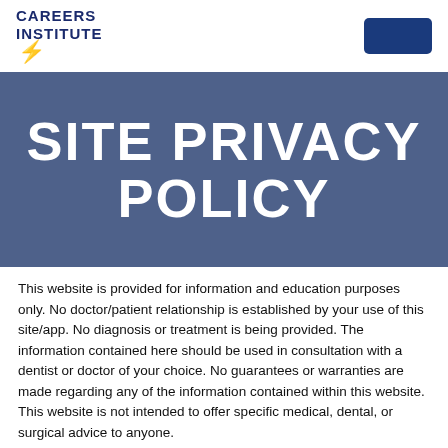CAREERS INSTITUTE
SITE PRIVACY POLICY
This website is provided for information and education purposes only. No doctor/patient relationship is established by your use of this site/app. No diagnosis or treatment is being provided. The information contained here should be used in consultation with a dentist or doctor of your choice. No guarantees or warranties are made regarding any of the information contained within this website. This website is not intended to offer specific medical, dental, or surgical advice to anyone.
Thank you for visiting our web site. This privacy